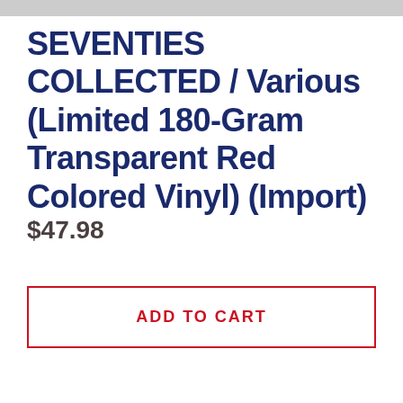SEVENTIES COLLECTED / Various (Limited 180-Gram Transparent Red Colored Vinyl) (Import)
$47.98
ADD TO CART